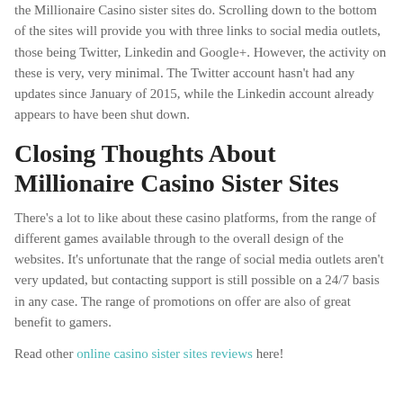the Millionaire Casino sister sites do. Scrolling down to the bottom of the sites will provide you with three links to social media outlets, those being Twitter, Linkedin and Google+. However, the activity on these is very, very minimal. The Twitter account hasn't had any updates since January of 2015, while the Linkedin account already appears to have been shut down.
Closing Thoughts About Millionaire Casino Sister Sites
There's a lot to like about these casino platforms, from the range of different games available through to the overall design of the websites. It's unfortunate that the range of social media outlets aren't very updated, but contacting support is still possible on a 24/7 basis in any case. The range of promotions on offer are also of great benefit to gamers.
Read other online casino sister sites reviews here!